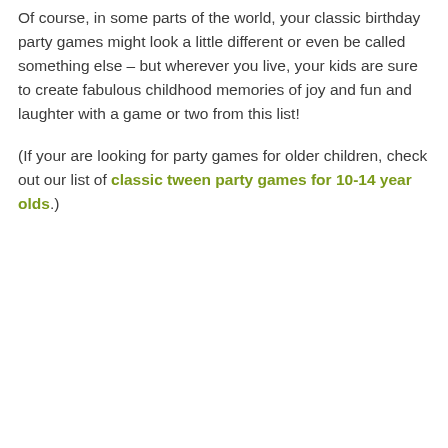Of course, in some parts of the world, your classic birthday party games might look a little different or even be called something else – but wherever you live, your kids are sure to create fabulous childhood memories of joy and fun and laughter with a game or two from this list!
(If your are looking for party games for older children, check out our list of classic tween party games for 10-14 year olds.)